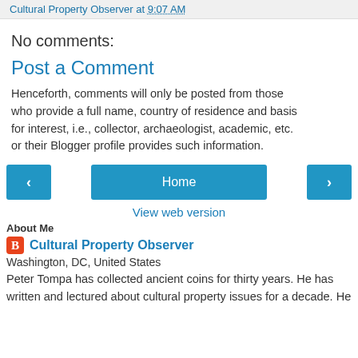Cultural Property Observer at 9:07 AM
No comments:
Post a Comment
Henceforth, comments will only be posted from those who provide a full name, country of residence and basis for interest, i.e., collector, archaeologist, academic, etc. or their Blogger profile provides such information.
‹  Home  ›
View web version
About Me
Cultural Property Observer
Washington, DC, United States
Peter Tompa has collected ancient coins for thirty years. He has written and lectured about cultural property issues for a decade. He